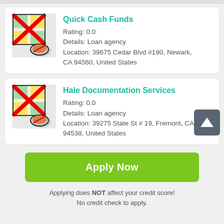[Figure (screenshot): Listing card for Quick Cash Funds loan agency with map placeholder icon (red X over map), rating 0.0, loan agency details, and address in Newark CA]
Quick Cash Funds
Rating: 0.0
Details: Loan agency
Location: 39675 Cedar Blvd #190, Newark, CA 94560, United States
[Figure (screenshot): Listing card for Hale Documentation Services loan agency with map placeholder icon (red X over map), rating 0.0, loan agency details, and address in Fremont CA]
Hale Documentation Services
Rating: 0.0
Details: Loan agency
Location: 39275 State St # 19, Fremont, CA 94538, United States
Apply Now
Applying does NOT affect your credit score!
No credit check to apply.